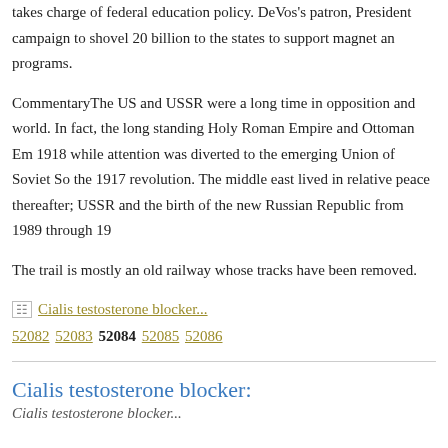takes charge of federal education policy. DeVos's patron, President campaign to shovel 20 billion to the states to support magnet an programs.
CommentaryThe US and USSR were a long time in opposition and world. In fact, the long standing Holy Roman Empire and Ottoman Em 1918 while attention was diverted to the emerging Union of Soviet So the 1917 revolution. The middle east lived in relative peace thereafter; USSR and the birth of the new Russian Republic from 1989 through 19
The trail is mostly an old railway whose tracks have been removed.
Cialis testosterone blocker...
52082 52083 52084 52085 52086
Cialis testosterone blocker:
Cialis testosterone blocker...